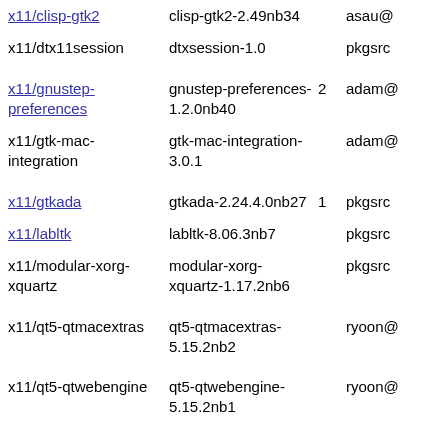| Package | Version | Num | Maintainer |
| --- | --- | --- | --- |
| x11/clisp-gtk2 | clisp-gtk2-2.49nb34 |  | asau@ |
| x11/dtx11session | dtxsession-1.0 |  | pkgsrc |
| x11/gnustep-preferences | gnustep-preferences-1.2.0nb40 | 2 | adam@ |
| x11/gtk-mac-integration | gtk-mac-integration-3.0.1 |  | adam@ |
| x11/gtkada | gtkada-2.24.4.0nb27 | 1 | pkgsrc |
| x11/labltk | labltk-8.06.3nb7 |  | pkgsrc |
| x11/modular-xorg-xquartz | modular-xorg-xquartz-1.17.2nb6 |  | pkgsrc |
| x11/qt5-qtmacextras | qt5-qtmacextras-5.15.2nb2 |  | ryoon@ |
| x11/qt5-qtwebengine | qt5-qtwebengine-5.15.2nb1 |  | ryoon@ |